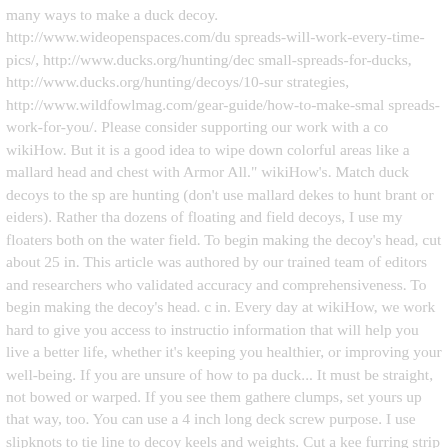many ways to make a duck decoy. http://www.wideopenspaces.com/du spreads-will-work-every-time-pics/, http://www.ducks.org/hunting/dec small-spreads-for-ducks, http://www.ducks.org/hunting/decoys/10-sur strategies, http://www.wildfowlmag.com/gear-guide/how-to-make-smal spreads-work-for-you/. Please consider supporting our work with a co wikiHow. But it is a good idea to wipe down colorful areas like a mallard head and chest with Armor All." wikiHow's. Match duck decoys to the sp are hunting (don't use mallard dekes to hunt brant or eiders). Rather tha dozens of floating and field decoys, I use my floaters both on the water field. To begin making the decoy's head, cut about 25 in. This article was authored by our trained team of editors and researchers who validated accuracy and comprehensiveness. To begin making the decoy's head. c in. Every day at wikiHow, we work hard to give you access to instructio information that will help you live a better life, whether it's keeping you healthier, or improving your well-being. If you are unsure of how to pa duck... It must be straight, not bowed or warped. If you see them gathere clumps, set yours up that way, too. You can use a 4 inch long deck screw purpose. I use slipknots to tie line to decoy keels and weights. Cut a kee furring strip and epoxy in place. Look for some tall grass or shrubbery, place to set up. Copyright Howtodothings.com © 2018, all rights reserve Decoys: How to Make Them, How to Paint Them, How to Rig Them | Co